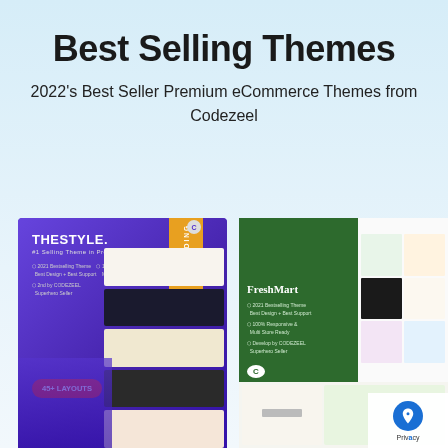Best Selling Themes
2022’s Best Seller Premium eCommerce Themes from Codezeel
[Figure (screenshot): TheStyle PrestaShop theme screenshot showing purple background with 45+ Layouts badge and TRENDING ribbon, multiple product layout previews]
[Figure (screenshot): FreshMart grocery eCommerce theme screenshot showing green sidebar with FreshMart logo, 12+ Layouts badge, product grid previews, and Codezeel branding]